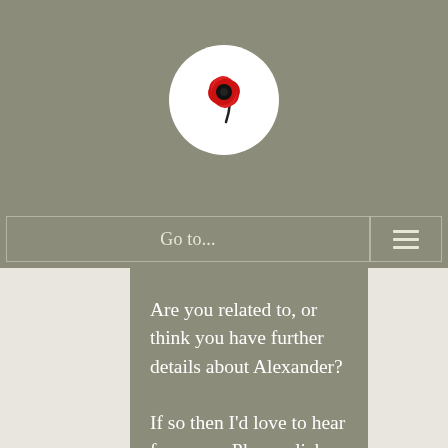[Figure (logo): Circular white logo with a red poppy flower and black stem on white background, set against a grey-green header bar]
Go to...
Are you related to, or think you have further details about Alexander?
If so then I’d love to hear from you. Please click the link below or send an email to mail (at)